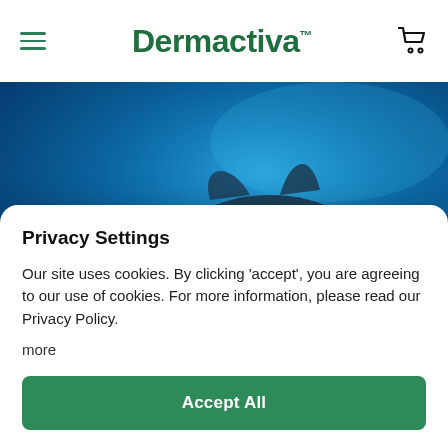Dermactiva™
[Figure (photo): Underwater ocean scene with two manta rays or similar large marine animals swimming against a vivid blue background. The animals appear dark against the bright blue water.]
Privacy Settings
Our site uses cookies. By clicking 'accept', you are agreeing to our use of cookies. For more information, please read our Privacy Policy.
more
Accept All